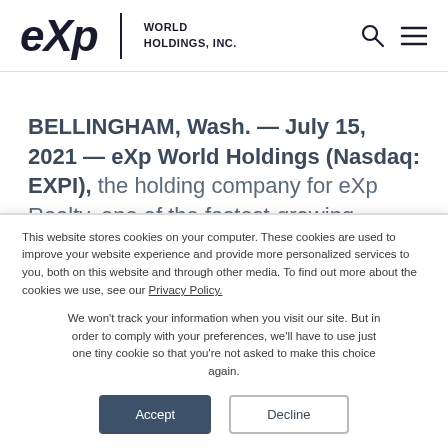eXp World Holdings, Inc.
BELLINGHAM, Wash. — July 15, 2021 — eXp World Holdings (Nasdaq: EXPI), the holding company for eXp Realty, one of the fastest-growing residential and commercial real estate companies in the
This website stores cookies on your computer. These cookies are used to improve your website experience and provide more personalized services to you, both on this website and through other media. To find out more about the cookies we use, see our Privacy Policy.
We won't track your information when you visit our site. But in order to comply with your preferences, we'll have to use just one tiny cookie so that you're not asked to make this choice again.
Accept
Decline